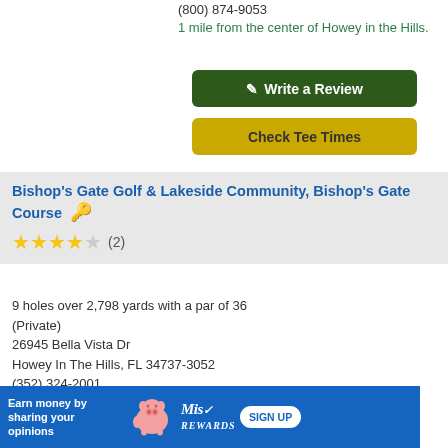(800) 874-9053
1 mile from the center of Howey in the Hills.
✎ Write a Review
Check Tee Times
Bishop's Gate Golf & Lakeside Community, Bishop's Gate Course 🔑
★★★★☆ (2)
9 holes over 2,798 yards with a par of 36 (Private)
26945 Bella Vista Dr
Howey In The Hills, FL 34737-3052
(352) 324-2001
2 miles from the center of Howey in the Hills.
✎ Write a Review
[Figure (infographic): Advertisement banner for Mis Rewards: blue background with piggy bank illustration, text 'Earn money by sharing your opinions', MisRewards logo, SIGN UP button]